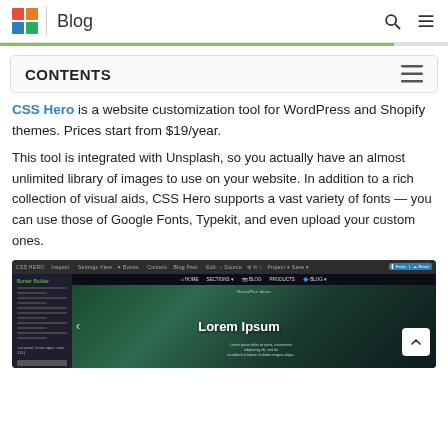Blog
CONTENTS
CSS Hero is a website customization tool for WordPress and Shopify themes. Prices start from $19/year.
This tool is integrated with Unsplash, so you actually have an almost unlimited library of images to use on your website. In addition to a rich collection of visual aids, CSS Hero supports a vast variety of fonts — you can use those of Google Fonts, Typekit, and even upload your custom ones.
[Figure (screenshot): Screenshot of CSS Hero interface showing a dark-themed editor sidebar on the left with a hero image on the right displaying 'Lorem Ipsum' text over a dark green background.]